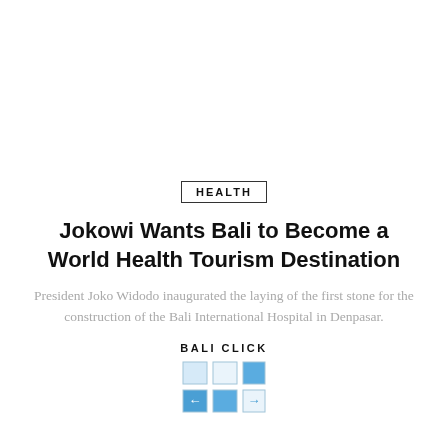HEALTH
Jokowi Wants Bali to Become a World Health Tourism Destination
President Joko Widodo inaugurated the laying of the first stone for the construction of the Bali International Hospital in Denpasar.
[Figure (logo): Bali Click logo with grid icon showing blue squares and directional arrows]